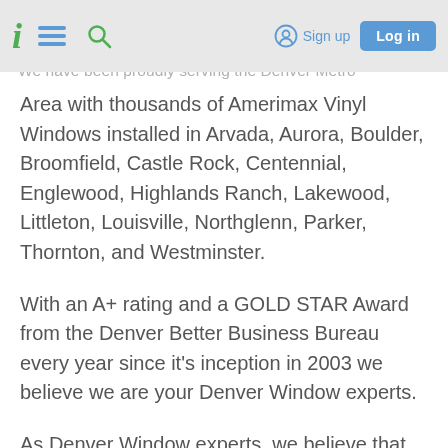i [hamburger] [search] Sign up Log in
We have been proudly serving the Denver Metro Area with thousands of Amerimax Vinyl Windows installed in Arvada, Aurora, Boulder, Broomfield, Castle Rock, Centennial, Englewood, Highlands Ranch, Lakewood, Littleton, Louisville, Northglenn, Parker, Thornton, and Westminster.
With an A+ rating and a GOLD STAR Award from the Denver Better Business Bureau every year since it’s inception in 2003 we believe we are your Denver Window experts.
As Denver Window experts, we believe that Amerimax is the only window for Colorado. Amerimax Windows are Colorado built Vinyl